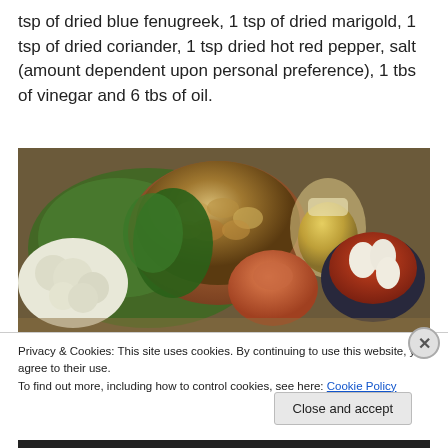tsp of dried blue fenugreek, 1 tsp of dried marigold, 1 tsp of dried coriander, 1 tsp dried hot red pepper, salt (amount dependent upon personal preference), 1 tbs of vinegar and 6 tbs of oil.
[Figure (photo): Overhead photo of ingredients including walnuts in a clay bowl, fresh herbs/parsley, cauliflower, an onion, oil in a glass pitcher, and spices including red pepper and garlic in a dark bowl, arranged on a wooden board.]
Privacy & Cookies: This site uses cookies. By continuing to use this website, you agree to their use.
To find out more, including how to control cookies, see here: Cookie Policy